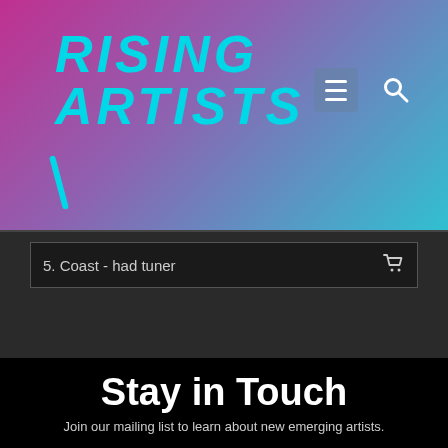[Figure (logo): Rising Artists logo with cyan italic bold text on a pink-to-blue gradient background, with hamburger menu button and search icon in the top right]
5. Coast - had tuner
Stay in Touch
Join our mailing list to learn about new emerging artists.